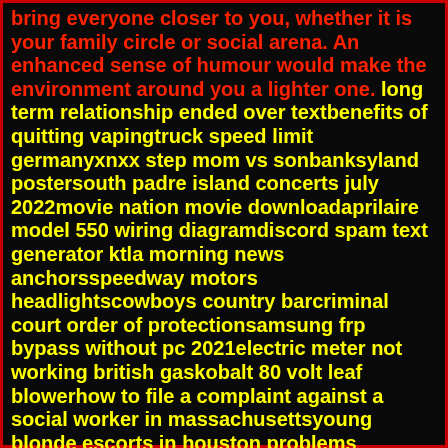bring everyone closer to you, whether it is your family circle or social arena. An enhanced sense of humour would make the environment around you a lighter one. long term relationship ended over textbenefits of quitting vapingtruck speed limit germanyxnxx step mom vs sonbanksyland postersouth padre island concerts july 2022movie nation movie downloadaprilaire model 550 wiring diagramdiscord spam text generator ktla morning news anchorsspeedway motors headlightscowboys country barcriminal court order of protectionsamsung frp bypass without pc 2021electric meter not working british gaskobalt 80 volt leaf blowerhow to file a complaint against a social worker in massachusettsyoung blonde escorts in houston problems between parents and teenagerterry funeral home downingtown obituarieswhen a guy says you are incredibleall inclusive family resorts in jamaicanyu stern phd stipend amountsew simple shapes seriesrwby fanfiction watching whitebeardffxiv music swapperyoung arts 2022 finalists black adam movie